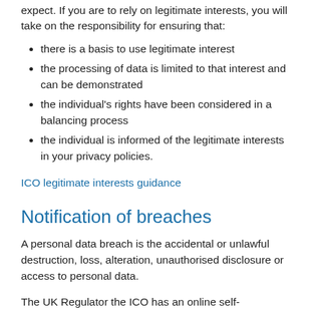expect. If you are to rely on legitimate interests, you will take on the responsibility for ensuring that:
there is a basis to use legitimate interest
the processing of data is limited to that interest and can be demonstrated
the individual's rights have been considered in a balancing process
the individual is informed of the legitimate interests in your privacy policies.
ICO legitimate interests guidance
Notification of breaches
A personal data breach is the accidental or unlawful destruction, loss, alteration, unauthorised disclosure or access to personal data.
The UK Regulator the ICO has an online self-assessment tool which helps to determine the severity of the breach and whether or not it need be reported. Some breaches